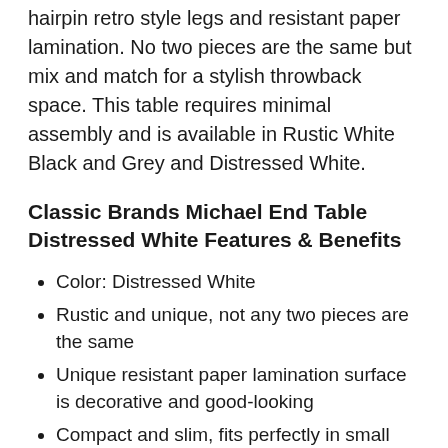hairpin retro style legs and resistant paper lamination. No two pieces are the same but mix and match for a stylish throwback space. This table requires minimal assembly and is available in Rustic White Black and Grey and Distressed White.
Classic Brands Michael End Table Distressed White Features & Benefits
Color: Distressed White
Rustic and unique, not any two pieces are the same
Unique resistant paper lamination surface is decorative and good-looking
Compact and slim, fits perfectly in small rooms and tight spaces
Ships in a compact package right to your door